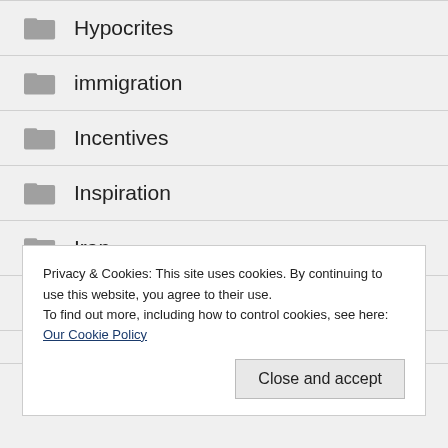Hypocrites
immigration
Incentives
Inspiration
Iran
Islam
Privacy & Cookies: This site uses cookies. By continuing to use this website, you agree to their use.
To find out more, including how to control cookies, see here: Our Cookie Policy
Close and accept